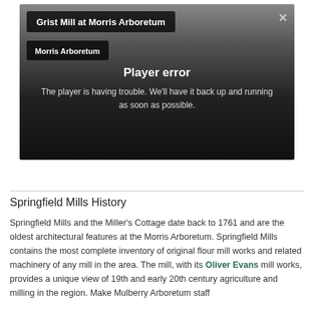[Figure (screenshot): Video player showing 'Grist Mill at Morris Arboretum' with a player error message. Dark gradient background with title bar, subtitle 'Morris Arboretum', and error text: 'Player error — The player is having trouble. We'll have it back up and running as soon as possible.']
Springfield Mills History
Springfield Mills and the Miller's Cottage date back to 1761 and are the oldest architectural features at the Morris Arboretum. Springfield Mills contains the most complete inventory of original flour mill works and related machinery of any mill in the area. The mill, with its Oliver Evans mill works, provides a unique view of 19th and early 20th century agriculture and milling in the region. Make Mulberry Arboretum staff...